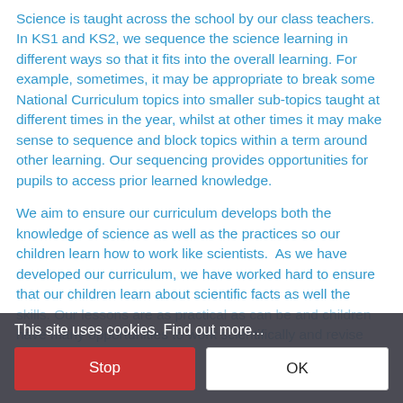Science is taught across the school by our class teachers. In KS1 and KS2, we sequence the science learning in different ways so that it fits into the overall learning. For example, sometimes, it may be appropriate to break some National Curriculum topics into smaller sub-topics taught at different times in the year, whilst at other times it may make sense to sequence and block topics within a term around other learning. Our sequencing provides opportunities for pupils to access prior learned knowledge.
We aim to ensure our curriculum develops both the knowledge of science as well as the practices so our children learn how to work like scientists.  As we have developed our curriculum, we have worked hard to ensure that our children learn about scientific facts as well the skills. Our lessons are as practical as can be and children have many opportunities to work scientifically and revise
This site uses cookies. Find out more...
Stop
OK